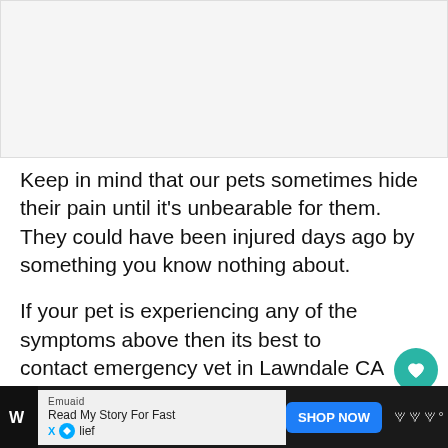[Figure (photo): Image placeholder area at the top of the page, light gray background]
Keep in mind that our pets sometimes hide their pain until it's unbearable for them. They could have been injured days ago by something you know nothing about.
If your pet is experiencing any of the symptoms above then its best to contact emergency vet in Lawndale CA right away.
Emuaid Read My Story For Fast X [relief] lief SHOP NOW